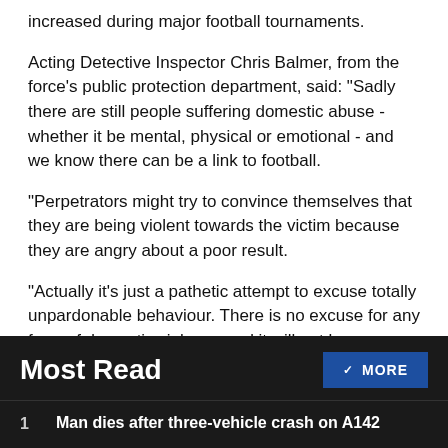increased during major football tournaments.
Acting Detective Inspector Chris Balmer, from the force's public protection department, said: "Sadly there are still people suffering domestic abuse - whether it be mental, physical or emotional - and we know there can be a link to football.
"Perpetrators might try to convince themselves that they are being violent towards the victim because they are angry about a poor result.
"Actually it's just a pathetic attempt to excuse totally unpardonable behaviour. There is no excuse for any form of domestic violence and it will not be tolerated.
Most Read
1  Man dies after three-vehicle crash on A142